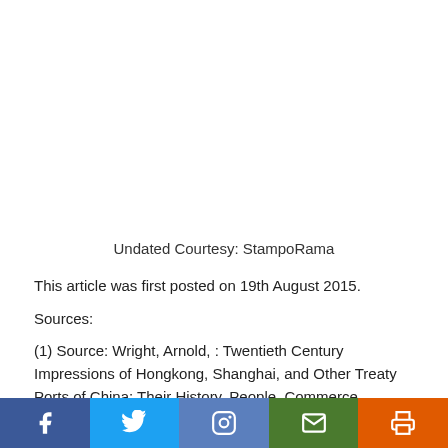Undated Courtesy: StampoRama
This article was first posted on 19th August 2015.
Sources:
(1) Source: Wright, Arnold, : Twentieth Century Impressions of Hongkong, Shanghai, and Other Treaty Ports of China: Their History, People, Commerce, Industries, and Resources.